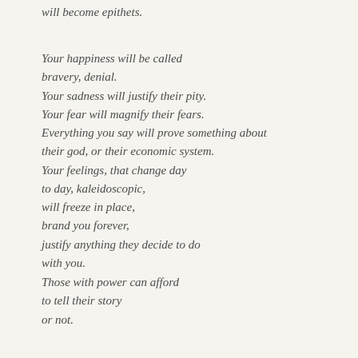will become epithets.
Your happiness will be called
bravery, denial.
Your sadness will justify their pity.
Your fear will magnify their fears.
Everything you say will prove something about
their god, or their economic system.
Your feelings, that change day
to day, kaleidoscopic,
will freeze in place,
brand you forever,
justify anything they decide to do
with you.
Those with power can afford
to tell their story
or not.